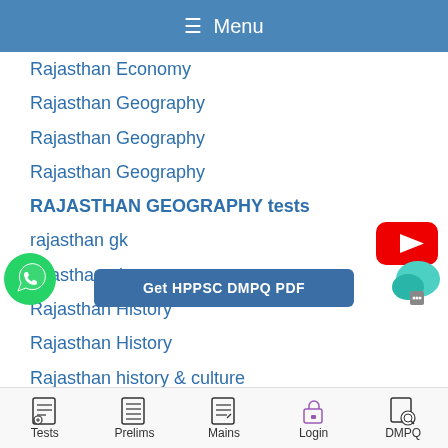≡ Menu
Rajasthan Economy
Rajasthan Geography
Rajasthan Geography
Rajasthan Geography
RAJASTHAN GEOGRAPHY tests
rajasthan gk
rajasthan gk tests
Rajasthan History
Rajasthan History
Rajasthan history & culture
jasthan po...
[Figure (logo): YouTube play button logo (red)]
[Figure (logo): WhatsApp green phone icon]
[Figure (logo): Chat bubble icon (teal/green)]
Get HPPSC DMPQ PDF
Tests  Prelims  Mains  Login  DMPQ